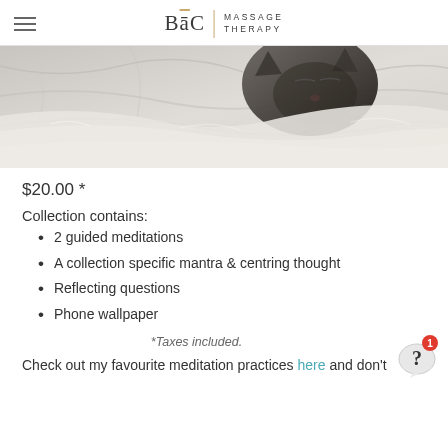BāC MASSAGE THERAPY
[Figure (photo): Close-up photo of a sleeping cat nestled in white bedding/blankets, viewed from above. The cat's dark face and ears are visible, partially obscured by soft white fabric.]
$20.00 *
Collection contains:
2 guided meditations
A collection specific mantra & centring thought
Reflecting questions
Phone wallpaper
*Taxes included.
Check out my favourite meditation practices here and don't